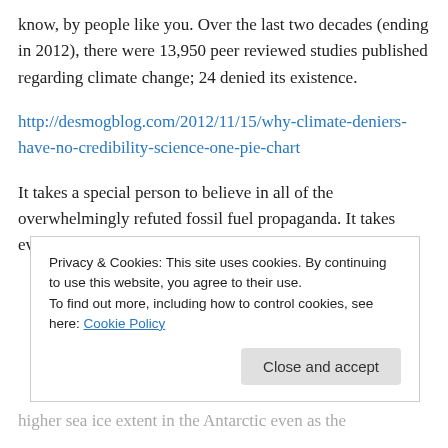know, by people like you. Over the last two decades (ending in 2012), there were 13,950 peer reviewed studies published regarding climate change; 24 denied its existence.
http://desmogblog.com/2012/11/15/why-climate-deniers-have-no-credibility-science-one-pie-chart
It takes a special person to believe in all of the overwhelmingly refuted fossil fuel propaganda. It takes even more arrogance and audacity to
Privacy & Cookies: This site uses cookies. By continuing to use this website, you agree to their use.
To find out more, including how to control cookies, see here: Cookie Policy
higher sea ice extent in the Antarctic even as the